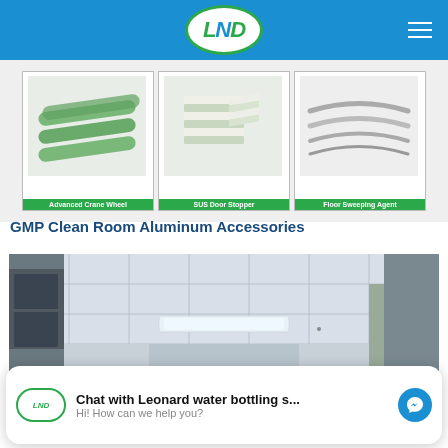LND logo navigation bar
[Figure (photo): Product card: Advanced Crane Wheel - green cylindrical rods]
[Figure (photo): Product card: SUS Door Stopper - stacked foam/rubber blocks]
[Figure (photo): Product card: Floor Sweeping Agent - curved strips]
GMP Clean Room Aluminum Accessories
[Figure (photo): Interior photo of a GMP clean room hallway with white tile ceiling panels, fluorescent lighting, and corridor]
Chat with Leonard water bottling s... Hi! How can we help you?